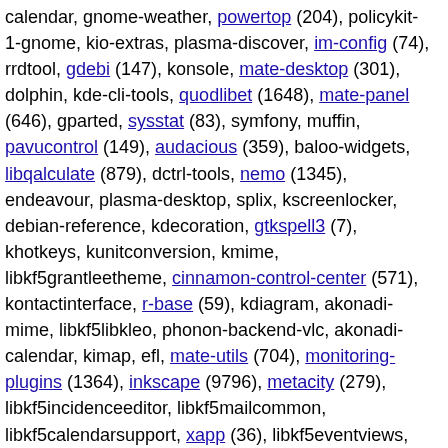calendar, gnome-weather, powertop (204), policykit-1-gnome, kio-extras, plasma-discover, im-config (74), rrdtool, gdebi (147), konsole, mate-desktop (301), dolphin, kde-cli-tools, quodlibet (1648), mate-panel (646), gparted, sysstat (83), symfony, muffin, pavucontrol (149), audacious (359), baloo-widgets, libqalculate (879), dctrl-tools, nemo (1345), endeavour, plasma-desktop, splix, kscreenlocker, debian-reference, kdecoration, gtkspell3 (7), khotkeys, kunitconversion, kmime, libkf5grantleetheme, cinnamon-control-center (571), kontactinterface, r-base (59), kdiagram, akonadi-mime, libkf5libkleo, phonon-backend-vlc, akonadi-calendar, kimap, efl, mate-utils (704), monitoring-plugins (1364), inkscape (9796), metacity (279), libkf5incidenceeditor, libkf5mailcommon, libkf5calendarsupport, xapp (36), libkf5eventviews, pluma (1449), libkf5gravatar, openbox (94), libkf5mailimporter, menu (68), marco (430), mate-menus (39), tepl, marble, kitinerary, lxhotkey, gnome-2048, eom (201), mousepad, gdl, libgnomecanvas, vino, gtk2-engines, gtk4, lyx (7289), xfwm4,